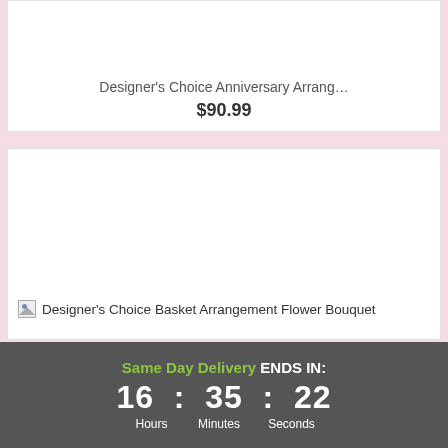Designer's Choice Anniversary Arrang…
$90.99
[Figure (photo): Broken image placeholder for Designer's Choice Basket Arrangement Flower Bouquet]
Same Day Delivery ENDS IN: 16 : 35 : 22 Hours Minutes Seconds